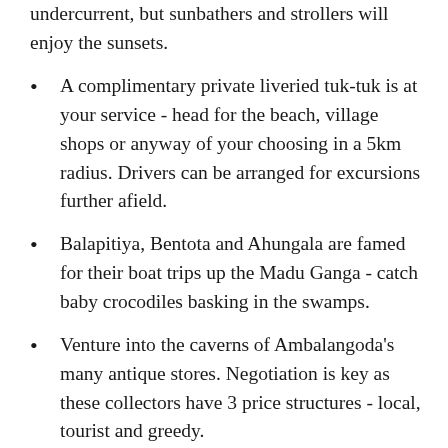undercurrent, but sunbathers and strollers will enjoy the sunsets.
A complimentary private liveried tuk-tuk is at your service  - head for the beach, village shops or anyway of your choosing in a 5km radius.  Drivers can be arranged for excursions further afield.
Balapitiya, Bentota and Ahungala are famed for their boat trips up the Madu Ganga - catch baby crocodiles basking in the swamps.
Venture into the caverns of Ambalangoda's many antique stores. Negotiation is key as these collectors have 3 price structures - local, tourist and greedy.
Broaden your knowledge in Galle's historic Fort, brimming with museums and galleries.